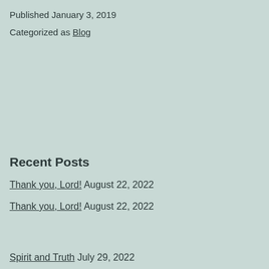Published January 3, 2019
Categorized as Blog
Recent Posts
Thank you, Lord! August 22, 2022
Thank you, Lord! August 22, 2022
Spirit and Truth July 29, 2022